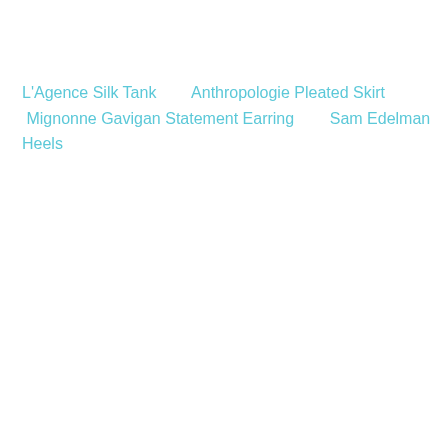L'Agence Silk Tank        Anthropologie Pleated Skirt  Mignonne Gavigan Statement Earring          Sam Edelman Heels